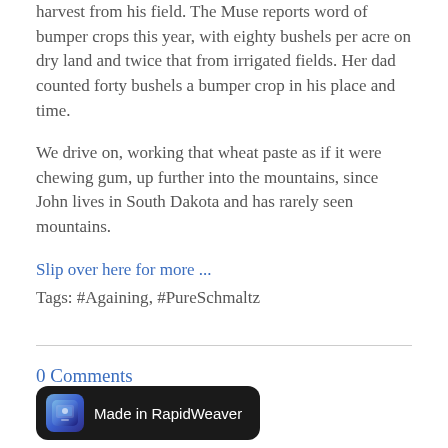harvest from his field. The Muse reports word of bumper crops this year, with eighty bushels per acre on dry land and twice that from irrigated fields. Her dad counted forty bushels a bumper crop in his place and time.
We drive on, working that wheat paste as if it were chewing gum, up further into the mountains, since John lives in South Dakota and has rarely seen mountains.
Slip over here for more ...
Tags: #Againing, #PureSchmaltz
0 Comments
[Figure (logo): Made in RapidWeaver badge - dark rounded rectangle with app icon and text]